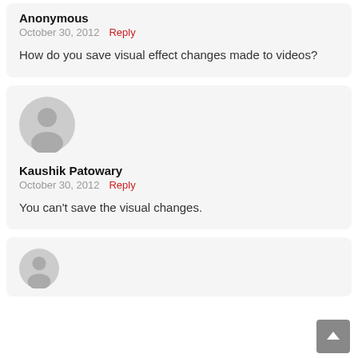Anonymous
October 30, 2012   Reply
How do you save visual effect changes made to videos?
[Figure (illustration): Generic user avatar icon — grey circle with silhouette of person]
Kaushik Patowary
October 30, 2012   Reply
You can't save the visual changes.